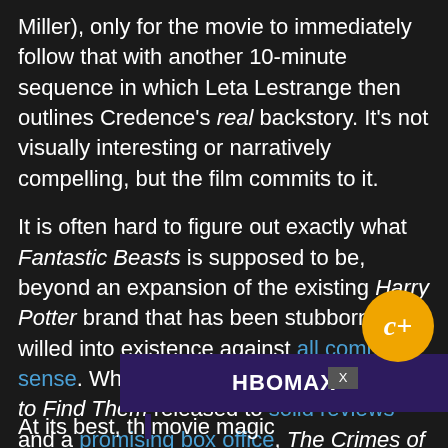Miller), only for the movie to immediately follow that with another 10-minute sequence in which Leta Lestrange then outlines Credence's real backstory. It's not visually interesting or narratively compelling, but the film commits to it.
It is often hard to figure out exactly what Fantastic Beasts is supposed to be, beyond an expansion of the existing Harry Potter brand that has been stubbornly willed into existence against all common sense. While Fantastic Beasts and Where to Find Them released to solid reviews and a promising box office, The Crimes of Grindelwald received a decidedly colder critical and commercial reception. Nevertheless, Warner Bros seems committed to making Fantastic Beasts as a five-film saga.
[Figure (other): Grade badge showing 'C+' in gold/orange circular badge]
[Figure (other): HBO Max advertisement banner overlay]
At its best, th[...] movie magic